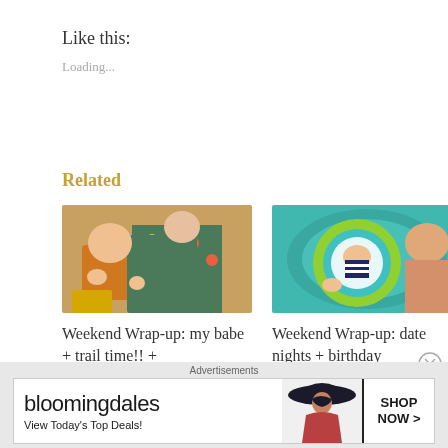Like this:
Loading...
Related
[Figure (photo): Adult holding a baby outdoors, baby wearing colorful clothes]
Weekend Wrap-up: my babe + trail time!! +
[Figure (photo): Man in pool with infant in a circular float ring, aerial view]
Weekend Wrap-up: date nights + birthday
Advertisements
[Figure (other): Bloomingdales advertisement: View Today's Top Deals! SHOP NOW >]